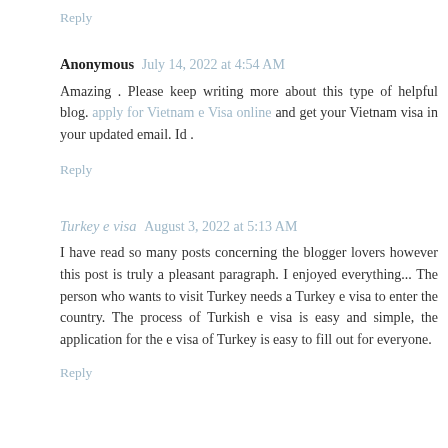Reply
Anonymous  July 14, 2022 at 4:54 AM
Amazing . Please keep writing more about this type of helpful blog. apply for Vietnam e Visa online and get your Vietnam visa in your updated email. Id .
Reply
Turkey e visa  August 3, 2022 at 5:13 AM
I have read so many posts concerning the blogger lovers however this post is truly a pleasant paragraph. I enjoyed everything... The person who wants to visit Turkey needs a Turkey e visa to enter the country. The process of Turkish e visa is easy and simple, the application for the e visa of Turkey is easy to fill out for everyone.
Reply